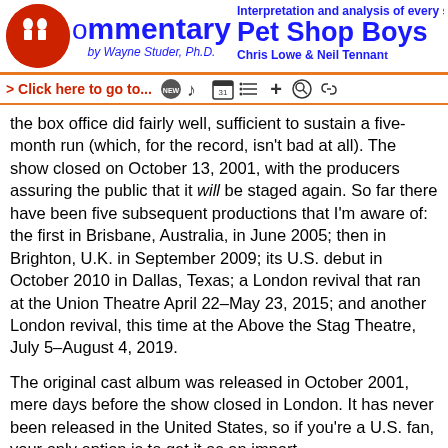Interpretation and analysis of every song by Commentary by Wayne Studer, Ph.D. | Pet Shop Boys Chris Lowe & Neil Tennant
the box office did fairly well, sufficient to sustain a five-month run (which, for the record, isn't bad at all). The show closed on October 13, 2001, with the producers assuring the public that it will be staged again. So far there have been five subsequent productions that I'm aware of: the first in Brisbane, Australia, in June 2005; then in Brighton, U.K. in September 2009; its U.S. debut in October 2010 in Dallas, Texas; a London revival that ran at the Union Theatre April 22–May 23, 2015; and another London revival, this time at the Above the Stag Theatre, July 5–August 4, 2019.
The original cast album was released in October 2001, mere days before the show closed in London. It has never been released in the United States, so if you're a U.S. fan, your only option is to get it as an import.
Note: Special thanks to Steve Byhurst of the Closer to Heaven Club for providing me with additional information about the plot of Closer to Heaven and how various songs